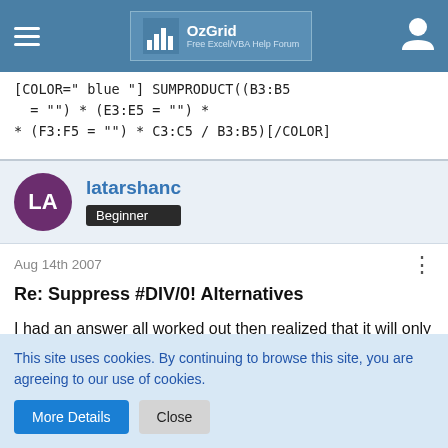OzGrid — Free Excel/VBA Help Forum
[COLOR="Blue"] SUMPRODUCT((B3:B5 = "") * (E3:E5 = "") * (F3:F5 = "") * C3:C5 / B3:B5)[/COLOR]
latarshanc — Beginner
Aug 14th 2007
Re: Suppress #DIV/0! Alternatives
I had an answer all worked out then realized that it will only work on Office 2007 due to the nesting limitations in Office 2003. I will post the formula anyhow and perhaps you or
This site uses cookies. By continuing to browse this site, you are agreeing to our use of cookies.